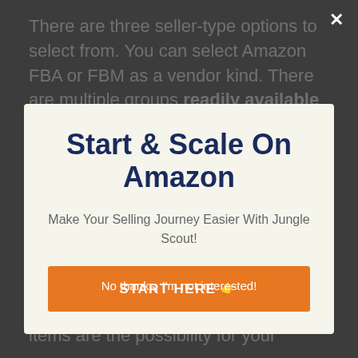There are three seller-type options to select from. You can select Amazon FBA or FBM as a vendor kind. There are multiple groups readily available
Start & Scale On Amazon
Make Your Selling Journey Easier With Jungle Scout!
START HERE 👉
No thanks, I'm not interested!
the products you've added. Using this tool, you can keep an eye on the sales of these items as well as see which items are the possibility for your